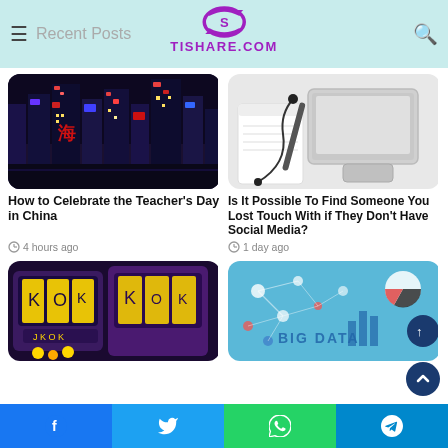Recent Posts — TISHARE.COM
[Figure (photo): Night cityscape with illuminated skyscrapers, Shanghai]
How to Celebrate the Teacher's Day in China
4 hours ago
[Figure (photo): Laptop, notebook, pen and earphones on a desk]
Is It Possible To Find Someone You Lost Touch With if They Don't Have Social Media?
1 day ago
[Figure (photo): Slot machine games, casino gaming screen]
[Figure (infographic): Big Data concept illustration with charts and connected nodes on blue background]
Facebook | Twitter | WhatsApp | Telegram